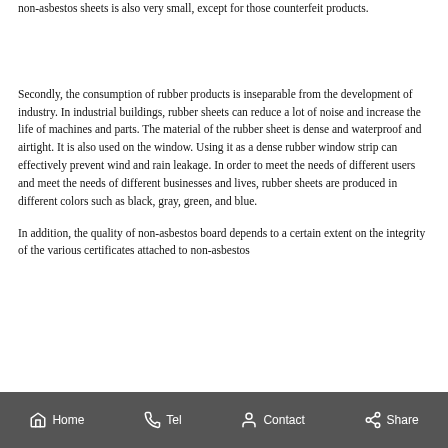non-asbestos sheets is also very small, except for those counterfeit products.
Secondly, the consumption of rubber products is inseparable from the development of industry. In industrial buildings, rubber sheets can reduce a lot of noise and increase the life of machines and parts. The material of the rubber sheet is dense and waterproof and airtight. It is also used on the window. Using it as a dense rubber window strip can effectively prevent wind and rain leakage. In order to meet the needs of different users and meet the needs of different businesses and lives, rubber sheets are produced in different colors such as black, gray, green, and blue.
In addition, the quality of non-asbestos board depends to a certain extent on the integrity of the various certificates attached to non-asbestos
Home   Tel   Contact   Share